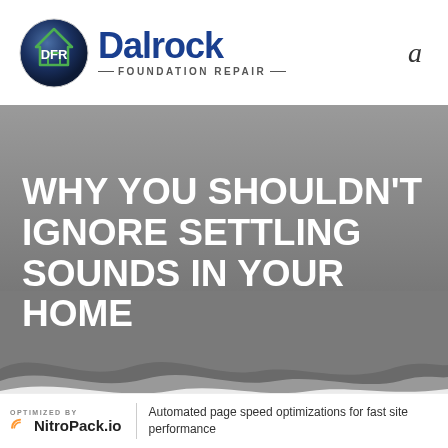[Figure (logo): Dalrock Foundation Repair logo with globe icon, blue DFR text, and 'FOUNDATION REPAIR' tagline]
a
WHY YOU SHOULDN'T IGNORE SETTLING SOUNDS IN YOUR HOME
[Figure (illustration): Wavy grey shape at bottom of hero section]
OPTIMIZED BY NitroPack.io | Automated page speed optimizations for fast site performance